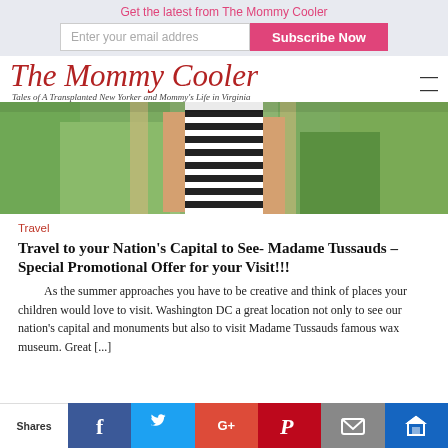Get the latest from The Mommy Cooler
The Mommy Cooler
Tales of A Transplanted New Yorker and Mommy's Life in Virginia
[Figure (photo): Person wearing a black and white striped top outdoors in a green garden setting, torso only visible]
Travel
Travel to your Nation's Capital to See- Madame Tussauds – Special Promotional Offer for your Visit!!!
As the summer approaches you have to be creative and think of places your children would love to visit. Washington DC a great location not only to see our nation's capital and monuments but also to visit Madame Tussauds famous wax museum. Great [...]
Shares | Facebook | Twitter | Google+ | Pinterest | Email | Crown